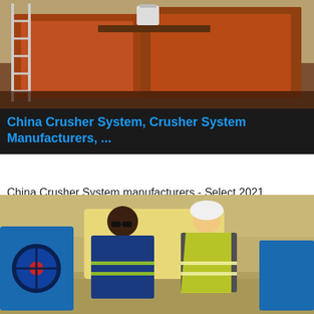[Figure (photo): Industrial crushing/mining machinery with orange metal structures, a ladder on the left, and a white bucket on a platform. Outdoor setting.]
China Crusher System, Crusher System Manufacturers, ...
China Crusher System manufacturers - Select 2021 high quality Crusher System products in best price from certified Chinese Plastic Machine manufacturers, Machinery suppliers, wholesalers and factory on Made-in-China
[Figure (infographic): Live Chat bubble overlay with close X button]
Get price
[Figure (photo): Two men standing in front of mining/crushing equipment. Man on left wearing blue jumpsuit, man on right in yellow safety vest and white helmet. Blue machinery visible on both sides.]